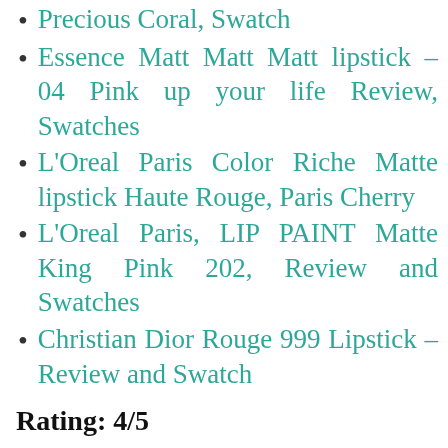Precious Coral, Swatch
Essence Matt Matt Matt lipstick – 04 Pink up your life Review, Swatches
L'Oreal Paris Color Riche Matte lipstick Haute Rouge, Paris Cherry
L'Oreal Paris, LIP PAINT Matte King Pink 202, Review and Swatches
Christian Dior Rouge 999 Lipstick – Review and Swatch
Rating: 4/5
Post Views: 1,192
Bella Voste   bella voste lipstick   Bella Voste liquid lipstick   Bella voste liquid lipstick review